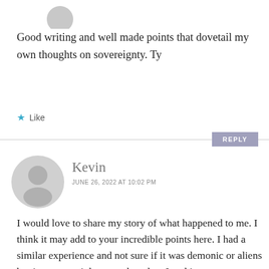[Figure (illustration): Partial grey avatar/profile silhouette icon, cropped at top of page]
Good writing and well made points that dovetail my own thoughts on sovereignty. Ty
★ Like
REPLY
[Figure (illustration): Grey circular avatar/profile silhouette icon for commenter Kevin]
Kevin
JUNE 26, 2022 AT 10:02 PM
I would love to share my story of what happened to me. I think it may add to your incredible points here. I had a similar experience and not sure if it was demonic or aliens but it was certainly more than that. I and in no way a